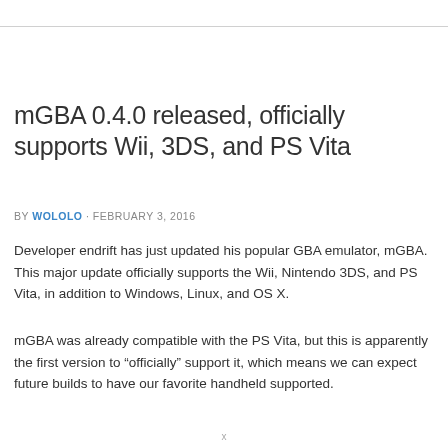mGBA 0.4.0 released, officially supports Wii, 3DS, and PS Vita
BY WOLOLO · FEBRUARY 3, 2016
Developer endrift has just updated his popular GBA emulator, mGBA. This major update officially supports the Wii, Nintendo 3DS, and PS Vita, in addition to Windows, Linux, and OS X.
mGBA was already compatible with the PS Vita, but this is apparently the first version to “officially” support it, which means we can expect future builds to have our favorite handheld supported.
x